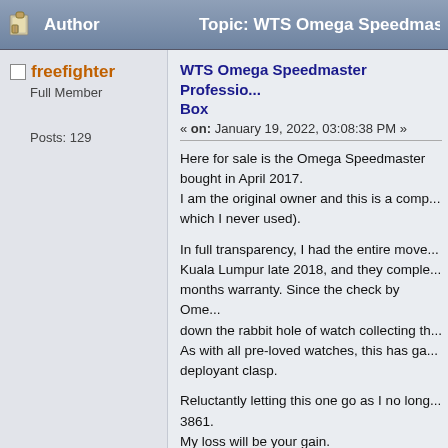Author   Topic: WTS Omega Speedmast...
freefighter
Full Member
Posts: 129
WTS Omega Speedmaster Professio... Box
« on: January 19, 2022, 03:08:38 PM »
Here for sale is the Omega Speedmaster bought in April 2017.
I am the original owner and this is a comp... which I never used).
In full transparency, I had the entire move... Kuala Lumpur late 2018, and they comple... months warranty. Since the check by Ome... down the rabbit hole of watch collecting th... As with all pre-loved watches, this has ga... deployant clasp.
Reluctantly letting this one go as I no long... 3861.
My loss will be your gain.
Package includes:
Full Big Box with all accessories, i.e.